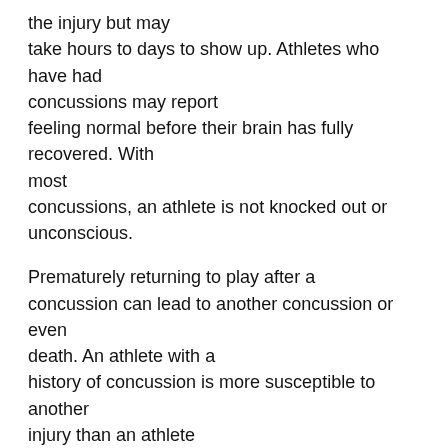the injury but may take hours to days to show up. Athletes who have had concussions may report feeling normal before their brain has fully recovered. With most concussions, an athlete is not knocked out or unconscious.
Prematurely returning to play after a concussion can lead to another concussion or even death. An athlete with a history of concussion is more susceptible to another injury than an athlete with no history of concussion. While helmets have not been shown to prevent concussions, they are recommended for use in contact boys' lacrosse to prevent head, neck, jaw, and dental injuries.
All concussions are serious, and all athletes with suspected concussions should not return to play until they see